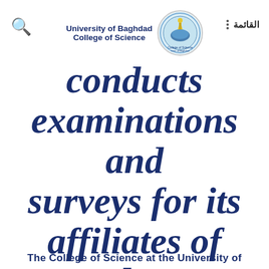University of Baghdad College of Science القائمة
conducts examinations and surveys for its affiliates of students, teachers and employees
The College of Science at the University of